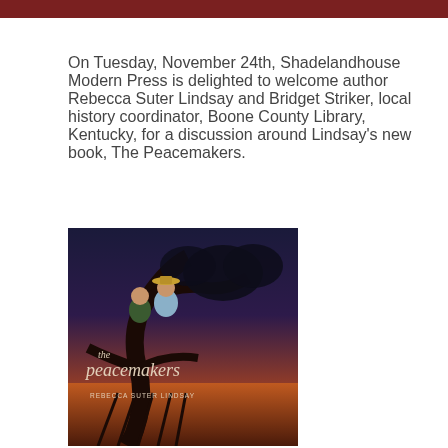On Tuesday, November 24th, Shadelandhouse Modern Press is delighted to welcome author Rebecca Suter Lindsay and Bridget Striker, local history coordinator, Boone County Library, Kentucky, for a discussion around Lindsay's new book, The Peacemakers.
[Figure (photo): Book cover of 'The Peacemakers' by Rebecca Suter Lindsay, showing two young people hiding in a dark tree with a dramatic twilight sky background. The title 'the peacemakers' is written in script font and the author name 'REBECCA SUTER LINDSAY' appears at the bottom.]